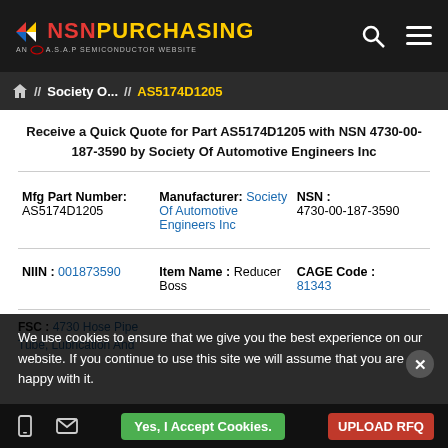NSN PURCHASING — AN A.S.A.P SEMICONDUCTOR WEBSITE
🏠 // Society O... // AS5174D1205
Receive a Quick Quote for Part AS5174D1205 with NSN 4730-00-187-3590 by Society Of Automotive Engineers Inc
| Mfg Part Number | Manufacturer | NSN |
| --- | --- | --- |
| AS5174D1205 | Society Of Automotive Engineers Inc | 4730-00-187-3590 |
| NIIN | Item Name | CAGE Code |
| --- | --- | --- |
| 001873590 | Reducer Boss | 81343 |
FSC : 4730 Hose Pipe
We use cookies to ensure that we give you the best experience on our website. If you continue to use this site we will assume that you are happy with it.
Yes, I Accept Cookies.
UPLOAD RFQ